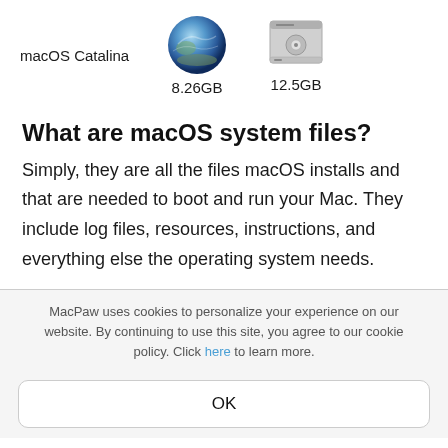[Figure (screenshot): macOS Catalina icon (circular planet/earth image) with label 8.26GB below, and a hard disk drive icon with label 12.5GB, alongside text 'macOS Catalina']
What are macOS system files?
Simply, they are all the files macOS installs and that are needed to boot and run your Mac. They include log files, resources, instructions, and everything else the operating system needs.
MacPaw uses cookies to personalize your experience on our website. By continuing to use this site, you agree to our cookie policy. Click here to learn more.
OK